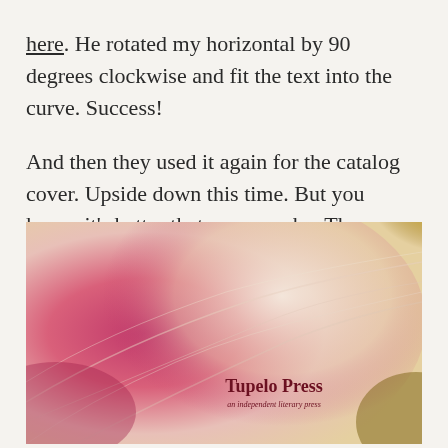here. He rotated my horizontal by 90 degrees clockwise and fit the text into the curve. Success!

And then they used it again for the catalog cover. Upside down this time. But you know, it's better that way, maybe. The catalog cover is here:
[Figure (photo): Close-up macro photograph of a flower (likely a magnolia or tulip) showing pink and white petals with soft texture. In the lower-right area, overlaid text reads 'Tupelo Press' in bold dark red/maroon serif font, with 'an independent literary press' in smaller italic text below.]